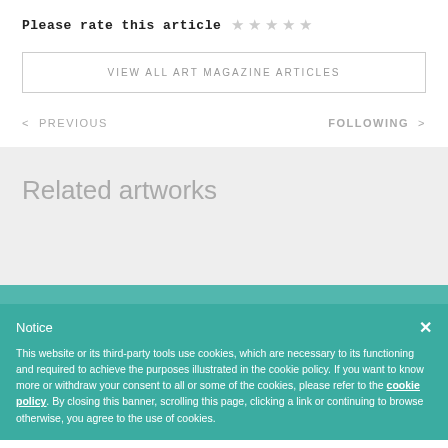Please rate this article ☆ ☆ ☆ ☆ ☆
VIEW ALL ART MAGAZINE ARTICLES
< PREVIOUS
FOLLOWING >
Related artworks
Notice
This website or its third-party tools use cookies, which are necessary to its functioning and required to achieve the purposes illustrated in the cookie policy. If you want to know more or withdraw your consent to all or some of the cookies, please refer to the cookie policy. By closing this banner, scrolling this page, clicking a link or continuing to browse otherwise, you agree to the use of cookies.